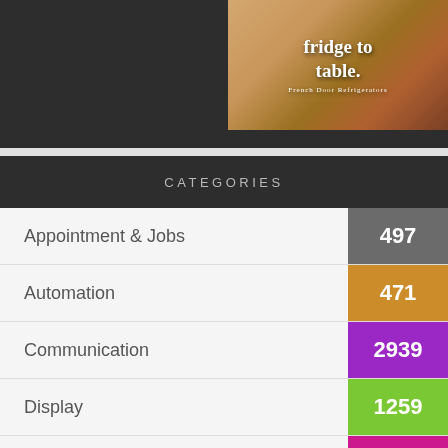[Figure (photo): Dark background area with a refrigerator advertisement image on the right showing text 'fridge to table' with food/drink items and a glass with ice]
| Category | Count |
| --- | --- |
| Appointment & Jobs | 497 |
| Automation | 471 |
| Communication | 2939 |
| Display | 1259 |
| Hardware | 2090 |
| Industry | 7485 |